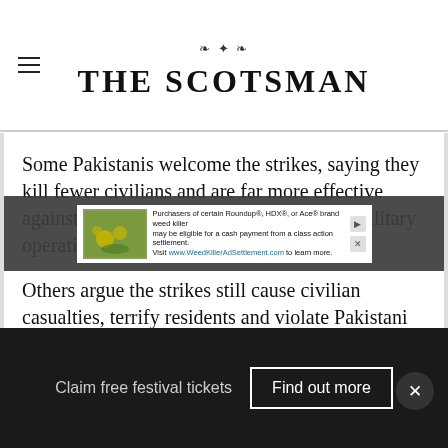THE SCOTSMAN
Some Pakistanis welcome the strikes, saying they kill fewer civilians and are far more effective against Taleban militants than traditional military operations.
Others argue the strikes still cause civilian casualties, terrify residents and violate Pakistani sovereignty. Prime minister Nawaz Sha...
[Figure (other): Advertisement banner for Roundup, HDX, or Ace brand weed killer class action settlement]
Claim free festival tickets  Find out more